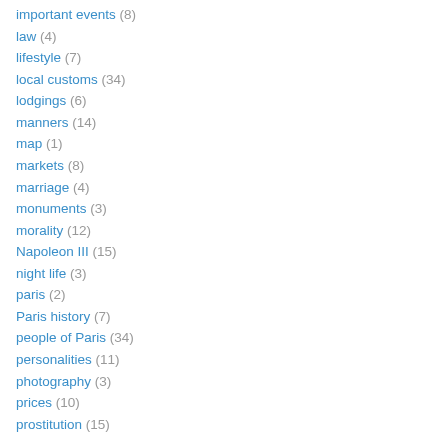important events (8)
law (4)
lifestyle (7)
local customs (34)
lodgings (6)
manners (14)
map (1)
markets (8)
marriage (4)
monuments (3)
morality (12)
Napoleon III (15)
night life (3)
paris (2)
Paris history (7)
people of Paris (34)
personalities (11)
photography (3)
prices (10)
prostitution (15)